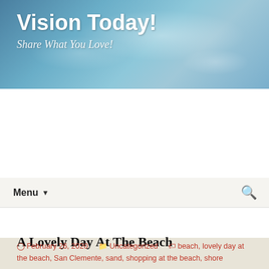Vision Today! Share What You Love!
Menu
Tag Archives: lovely day at the beach
A Lovely Day At The Beach
February 26, 2020   Uncategorized   beach, lovely day at the beach, San Clemente, sand, shopping at the beach, shore
[Figure (photo): Partial photo strip showing a person and a dark rectangular object against a beach/sky background]